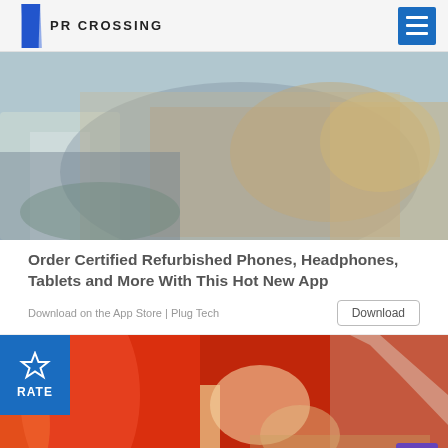PR CROSSING
[Figure (photo): Person sitting on floor using smartphone, casual home setting with chair in background]
Order Certified Refurbished Phones, Headphones, Tablets and More With This Hot New App
Download on the App Store | Plug Tech
[Figure (photo): Person in red outfit pouring liquid from a glass pitcher into a glass, close-up of hands]